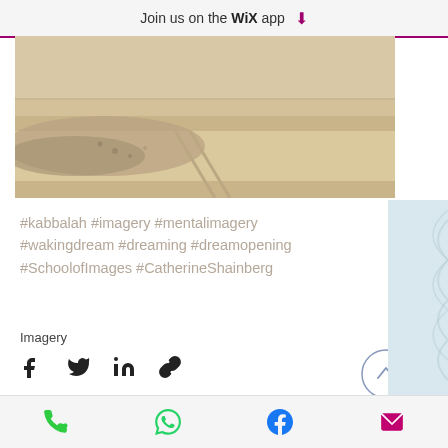Join us on the WiX app ⬇
[Figure (photo): Sandy desert or beach landscape with tracks in the sand, brownish-tan tones]
#kabbalah #imagery #mentalimagery #wakingdream #dreaming #dreamopening #SchoolofImages #CatherineShainberg
Imagery
[Figure (infographic): Social share icons: Facebook, Twitter, LinkedIn, link/chain, and a scroll-to-top circle button with chevron up]
[Figure (infographic): Stats row: eye/views icon with count 9, comment bubble icon; heart/like icon on right]
Phone, WhatsApp, Facebook, Email contact icons